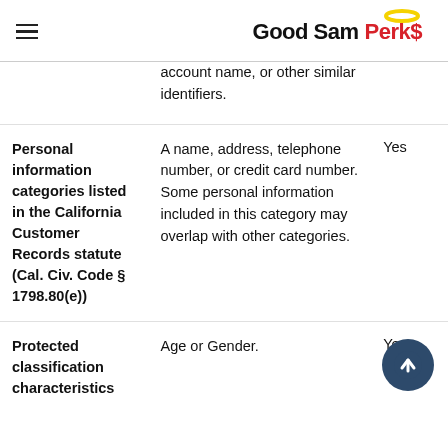Good Sam Perks
| Category | Description | Collected |
| --- | --- | --- |
|  | account name, or other similar identifiers. |  |
| Personal information categories listed in the California Customer Records statute (Cal. Civ. Code § 1798.80(e)) | A name, address, telephone number, or credit card number. Some personal information included in this category may overlap with other categories. | Yes |
| Protected classification characteristics | Age or Gender. | Yes |